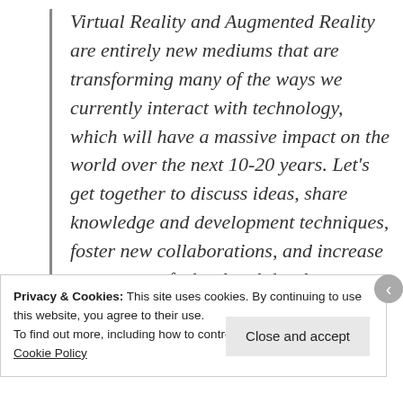Virtual Reality and Augmented Reality are entirely new mediums that are transforming many of the ways we currently interact with technology, which will have a massive impact on the world over the next 10-20 years. Let's get together to discuss ideas, share knowledge and development techniques, foster new collaborations, and increase awareness of what local developers are creating in these
Privacy & Cookies: This site uses cookies. By continuing to use this website, you agree to their use.
To find out more, including how to control cookies, see here: Cookie Policy
Close and accept